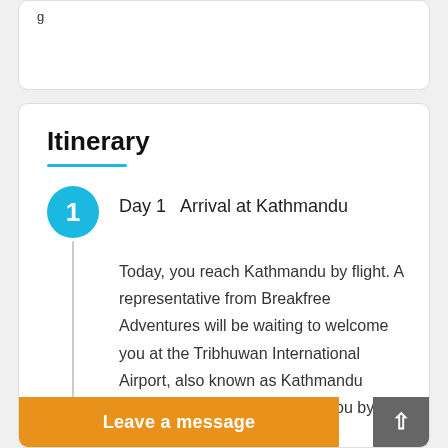Itinerary
Day 1   Arrival at Kathmandu
Today, you reach Kathmandu by flight. A representative from Breakfree Adventures will be waiting to welcome you at the Tribhuwan International Airport, also known as Kathmandu Airport. He/she will then take you by private vehicle to your... u have... use it to
Leave a message